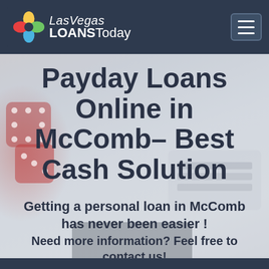[Figure (screenshot): Las Vegas Loans Today website header screenshot showing navigation bar with logo and hamburger menu, hero section with background photo of dice and calculator, large title text 'Payday Loans Online in McComb– Best Cash Solution', subtitle text about getting personal loans in McComb, and contact information prompt.]
Payday Loans Online in McComb– Best Cash Solution
Getting a personal loan in McComb has never been easier !
Need more information? Feel free to contact us!